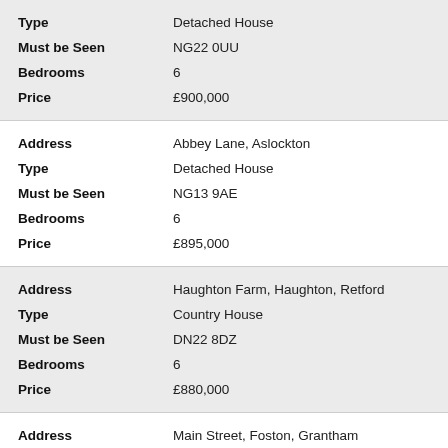| Field | Value |
| --- | --- |
| Type | Detached House |
| Must be Seen | NG22 0UU |
| Bedrooms | 6 |
| Price | £900,000 |
| Address | Abbey Lane, Aslockton |
| Type | Detached House |
| Must be Seen | NG13 9AE |
| Bedrooms | 6 |
| Price | £895,000 |
| Address | Haughton Farm, Haughton, Retford |
| Type | Country House |
| Must be Seen | DN22 8DZ |
| Bedrooms | 6 |
| Price | £880,000 |
| Address | Main Street, Foston, Grantham |